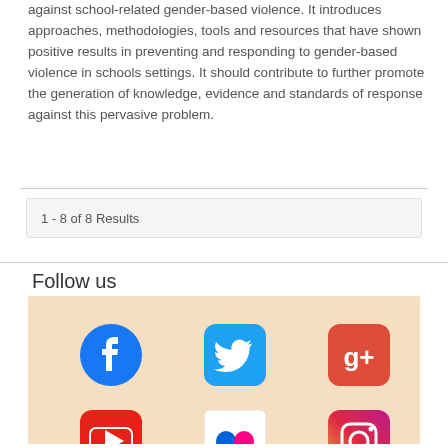against school-related gender-based violence. It introduces approaches, methodologies, tools and resources that have shown positive results in preventing and responding to gender-based violence in schools settings. It should contribute to further promote the generation of knowledge, evidence and standards of response against this pervasive problem.
1 - 8 of 8 Results
Follow us
[Figure (illustration): Social media icons on a peach/cream background: Facebook, Twitter, Google+, LinkedIn (top row); YouTube, Flickr, Instagram, RSS (bottom row)]